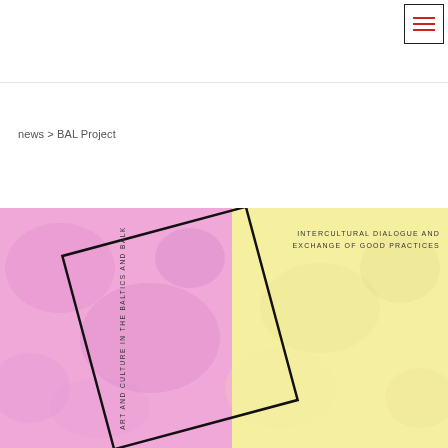[Figure (screenshot): Navigation bar with hamburger menu icon (three red horizontal lines) in top-right corner, with black border outline]
news > BAL Project
[Figure (illustration): Book cover or poster image split into two halves: left half pink/magenta with abstract texture, right half yellow with abstract texture. A rotated black outlined rectangle spans both halves. Vertical text on left edge reads 'ART AND CULTURE IN THE BALTICS AND  BALK...' Text in upper right area reads 'INTERCULTURAL DIALOGUE AND EXCHANGE OF GOOD PRACTICES']